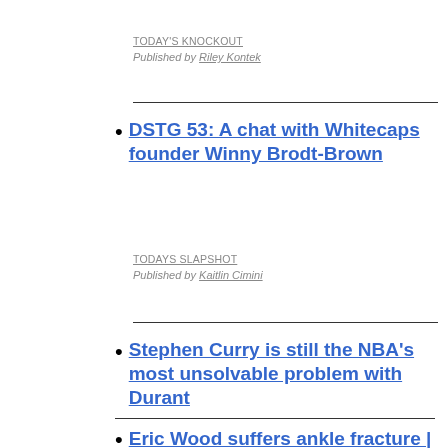TODAY'S KNOCKOUT
Published by Riley Kontek
DSTG 53: A chat with Whitecaps founder Winny Brodt-Brown
TODAYS SLAPSHOT
Published by Kaitlin Cimini
Stephen Curry is still the NBA's most unsolvable problem with Durant
TODAY'S FASTBREAK
Published by Michael Erler
Eric Wood suffers ankle fracture | Dr. Parekh